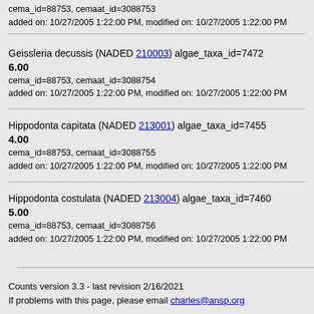cema_id=88753, cemaat_id=3088753
added on: 10/27/2005 1:22:00 PM, modified on: 10/27/2005 1:22:00 PM
Geissleria decussis (NADED 210003) algae_taxa_id=7472
6.00
cema_id=88753, cemaat_id=3088754
added on: 10/27/2005 1:22:00 PM, modified on: 10/27/2005 1:22:00 PM
Hippodonta capitata (NADED 213001) algae_taxa_id=7455
4.00
cema_id=88753, cemaat_id=3088755
added on: 10/27/2005 1:22:00 PM, modified on: 10/27/2005 1:22:00 PM
Hippodonta costulata (NADED 213004) algae_taxa_id=7460
5.00
cema_id=88753, cemaat_id=3088756
added on: 10/27/2005 1:22:00 PM, modified on: 10/27/2005 1:22:00 PM
Counts version 3.3 - last revision 2/16/2021
If problems with this page, please email charles@ansp.org